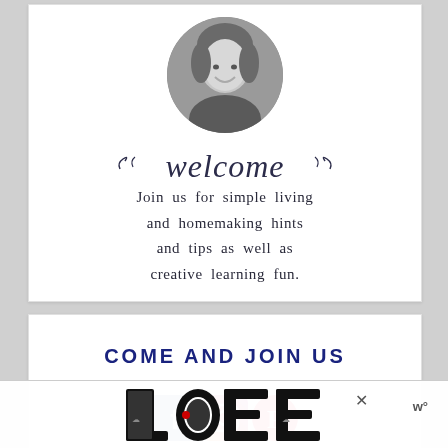[Figure (photo): Circular black and white portrait photo of a smiling woman]
welcome
Join us for simple living and homemaking hints and tips as well as creative learning fun.
COME AND JOIN US
[Figure (illustration): Social media icons: Facebook, Instagram, Pinterest]
[Figure (illustration): Ad overlay with decorative LOVE text graphic, close button X, and w° logo]